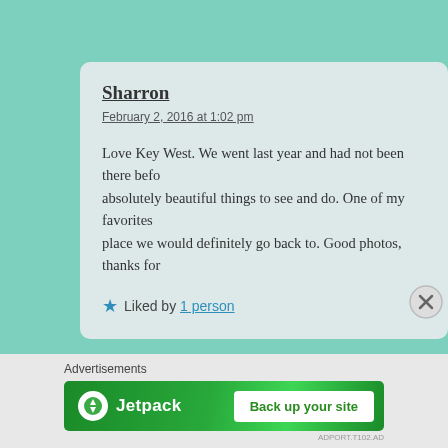Sharron
February 2, 2016 at 1:02 pm
Love Key West. We went last year and had not been there before, absolutely beautiful things to see and do. One of my favorites was a place we would definitely go back to. Good photos, thanks for
Liked by 1 person
Advertisements
[Figure (logo): Jetpack advertisement banner with green background, Jetpack logo and 'Back up your site' button]